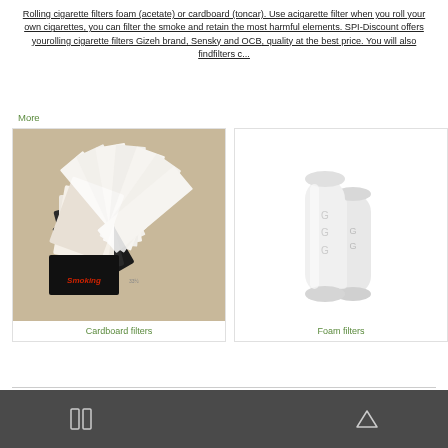Rolling cigarette filters foam (acetate) or cardboard (toncar). Use a cigarette filter when you roll your own cigarettes, you can filter the smoke and retain the most harmful elements. SPI-Discount offers you rolling cigarette filters Gizeh brand, Sensky and OCB, quality at the best price. You will also find filters c...
More
[Figure (photo): Photo of Smoking brand cardboard cigarette filter booklets fanned out]
Cardboard filters
[Figure (photo): Photo of two white foam/acetate cigarette filters on white background]
Foam filters